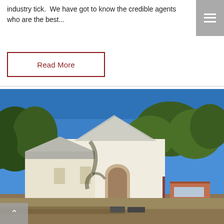industry tick.  We have got to know the credible agents who are the best...
Read More
[Figure (photo): Exterior photograph of a white painted church building with a metal roof and gothic arch doorway, surrounded by dry grass and eucalyptus trees under a blue sky. A brick building is visible in the background to the right.]